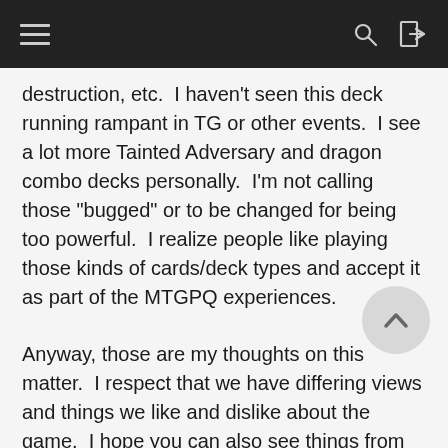[navigation bar with hamburger menu, search, and login icons]
destruction, etc.  I haven't seen this deck running rampant in TG or other events.  I see a lot more Tainted Adversary and dragon combo decks personally.  I'm not calling those "bugged" or to be changed for being too powerful.  I realize people like playing those kinds of cards/deck types and accept it as part of the MTGPQ experiences.
Anyway, those are my thoughts on this matter.  I respect that we have differing views and things we like and dislike about the game.  I hope you can also see things from the viewpoint of other player types and realize making these changes to the cards would significantly diminish their enjoyment of the game.